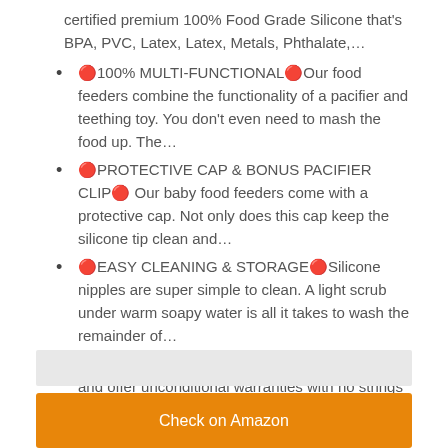certified premium 100% Food Grade Silicone that's BPA, PVC, Latex, Latex, Metals, Phthalate,...
🍴100% MULTI-FUNCTIONAL🍴Our food feeders combine the functionality of a pacifier and teething toy. You don't even need to mash the food up. The…
🍴PROTECTIVE CAP & BONUS PACIFIER CLIP🍴 Our baby food feeders come with a protective cap. Not only does this cap keep the silicone tip clean and…
🍴EASY CLEANING & STORAGE🍴Silicone nipples are super simple to clean. A light scrub under warm soapy water is all it takes to wash the remainder of…
🍴 GUARANTEE🍴We genuinely care for you and offer unconditional warranties with no strings attached. If you're ever dissatisfied, contact us for a…
[Figure (other): Gray bar placeholder]
Check on Amazon